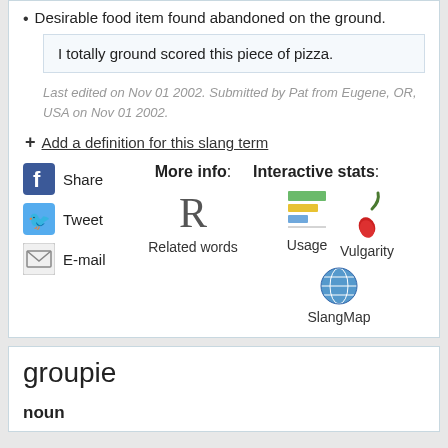Desirable food item found abandoned on the ground.
I totally ground scored this piece of pizza.
Last edited on Nov 01 2002. Submitted by Pat from Eugene, OR, USA on Nov 01 2002.
+ Add a definition for this slang term
Share
Tweet
E-mail
More info:
Related words
Interactive stats:
Usage
Vulgarity
SlangMap
groupie
noun